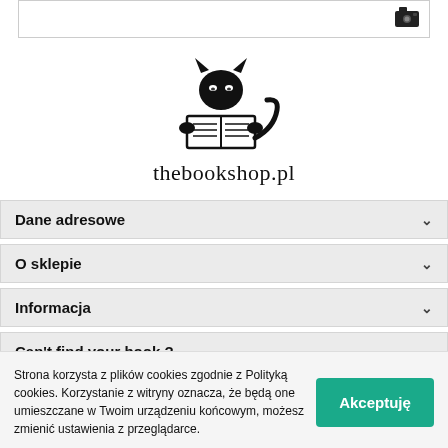[Figure (screenshot): Top portion of a web page with border outline and a camera/image icon in the top right corner]
[Figure (logo): Thebookshop.pl logo: a black cat reading a book illustration above the text 'thebookshop.pl']
Dane adresowe
O sklepie
Informacja
Can't find your book ?
Strona korzysta z plików cookies zgodnie z Polityką cookies. Korzystanie z witryny oznacza, że będą one umieszczane w Twoim urządzeniu końcowym, możesz zmienić ustawienia z przeglądarce.